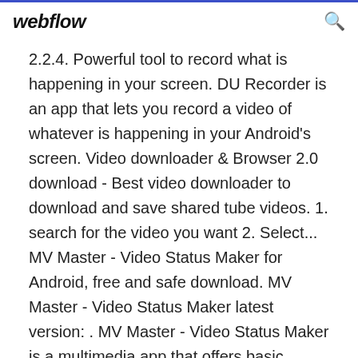webflow
2.2.4. Powerful tool to record what is happening in your screen. DU Recorder is an app that lets you record a video of whatever is happening in your Android's screen. Video downloader & Browser 2.0 download - Best video downloader to download and save shared tube videos. 1. search for the video you want 2. Select... MV Master - Video Status Maker for Android, free and safe download. MV Master - Video Status Maker latest version: . MV Master - Video Status Maker is a multimedia app that offers basic editing features for free. Tomato for Android, free and safe download. Tomato latest version: A Tool to Befriend People from Across the Globe. Tomato is a live streaming app that...